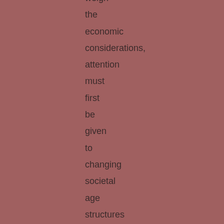weigh the economic considerations, attention must first be given to changing societal age structures and worker/nonworker ratios. ' ' " (p.26). These ratios, according